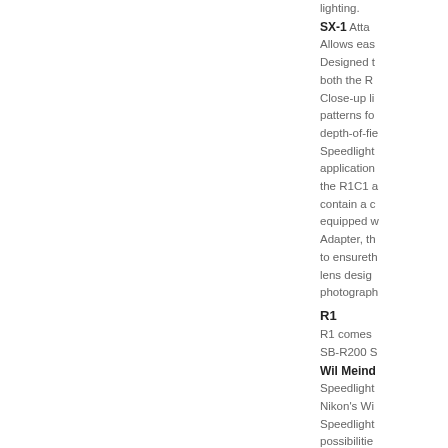lighting. SX-1 Attaches... Allows eas... Designed to... both the R... Close-up li... patterns fo... depth-of-fie... Speedlight... application... the R1C1 a... contain a c... equipped w... Adapter, th... to ensureth... lens desig... photograph... R1 R1 comes... SB-R200 S... Wil Meind... Speedlight... Nikon's Wi... Speedlight... possibilities... two SB-R2... SB-800 or... lighting – e... shoot-off...